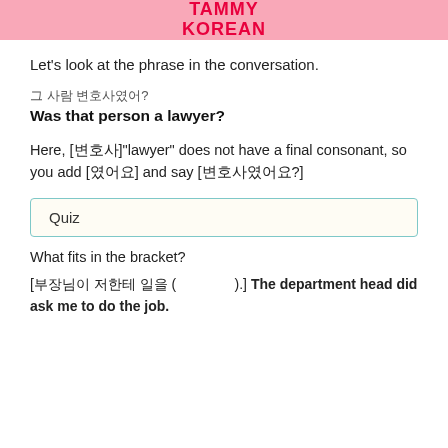TAMMY KOREAN
Let's look at the phrase in the conversation.
그 사람 변호사였어?
Was that person a lawyer?
Here, [변호사]"lawyer" does not have a final consonant, so you add [였어요] and say [변호사였어요?]
Quiz
What fits in the bracket?
[부장님이 저한테 일을 ( ).] The department head did ask me to do the job.